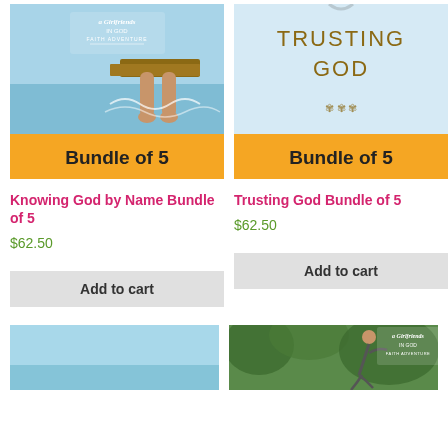[Figure (photo): Knowing God by Name Bundle of 5 book cover - person sitting on dock with feet in water, Girlfriends in God Faith Adventure label, gold Bundle of 5 banner]
Knowing God by Name Bundle of 5
$62.50
Add to cart
[Figure (photo): Trusting God Bundle of 5 book cover - light blue background with TRUSTING GOD text, gold Bundle of 5 banner]
Trusting God Bundle of 5
$62.50
Add to cart
[Figure (photo): Bottom left partially visible book cover - light blue]
[Figure (photo): Bottom right partially visible book cover - Girlfriends in God Faith Adventure with person jumping]